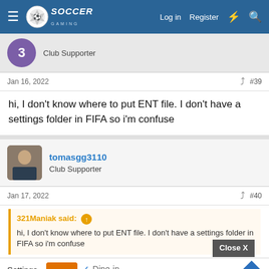Soccer Gaming — Log in | Register
3 — Club Supporter
Jan 16, 2022   #39
hi, I don't know where to put ENT file. I don't have a settings folder in FIFA so i'm confuse
tomasgg3110
Club Supporter
Jan 17, 2022   #40
321Maniak said: ↑
hi, I don't know where to put ENT file. I don't have a settings folder in FIFA so i'm confuse
[Close X]
Settings ... steam/s...